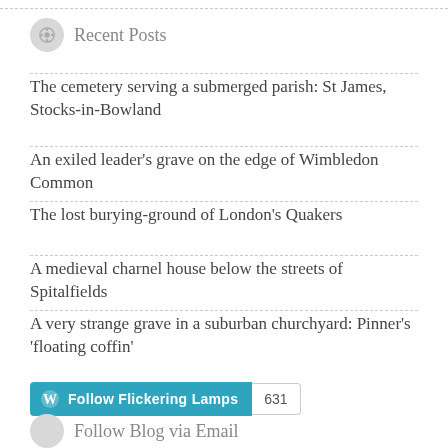Recent Posts
The cemetery serving a submerged parish: St James, Stocks-in-Bowland
An exiled leader's grave on the edge of Wimbledon Common
The lost burying-ground of London's Quakers
A medieval charnel house below the streets of Spitalfields
A very strange grave in a suburban churchyard: Pinner's 'floating coffin'
Follow Flickering Lamps 631
Follow Blog via Email